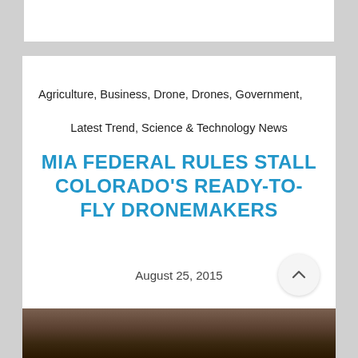Agriculture, Business, Drone, Drones, Government,
Latest Trend, Science & Technology News
MIA FEDERAL RULES STALL COLORADO'S READY-TO-FLY DRONEMAKERS
August 25, 2015
[Figure (photo): Aerial or ground-level photograph, partially visible at the bottom of the page, showing dark earthy tones]